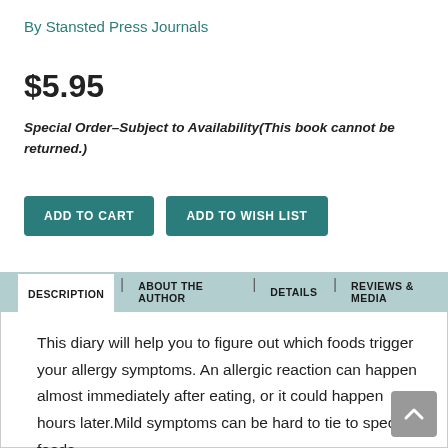By Stansted Press Journals
$5.95
Special Order–Subject to Availability(This book cannot be returned.)
ADD TO CART
ADD TO WISH LIST
DESCRIPTION | ABOUT THE AUTHOR | DETAILS | REVIEWS & MEDIA
This diary will help you to figure out which foods trigger your allergy symptoms. An allergic reaction can happen almost immediately after eating, or it could happen hours later.Mild symptoms can be hard to tie to specific foods.